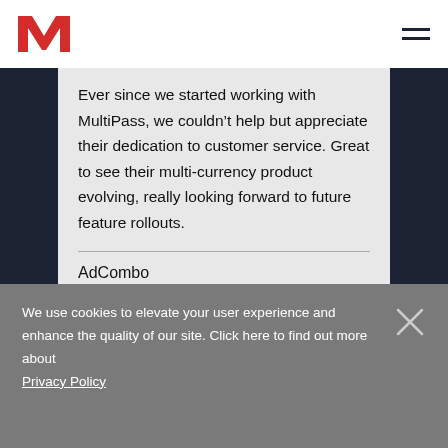[Figure (logo): MultiPass red M logo in top left header]
Ever since we started working with MultiPass, we couldn't help but appreciate their dedication to customer service. Great to see their multi-currency product evolving, really looking forward to future feature rollouts.
AdCombo
We use cookies to elevate your user experience and enhance the quality of our site. Click here to find out more about Privacy Policy